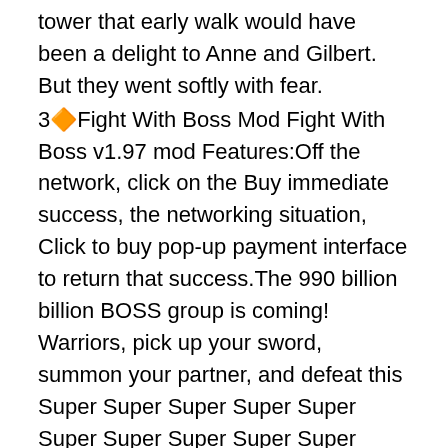tower that early walk would have been a delight to Anne and Gilbert. But they went softly with fear.
3🔷Fight With Boss Mod Fight With Boss v1.97 mod Features:Off the network, click on the Buy immediate success, the networking situation, Click to buy pop-up payment interface to return that success.The 990 billion billion BOSS group is coming! Warriors, pick up your sword, summon your partner, and defeat this Super Super Super Super Super Super Super Super Super Super Super Super Super Super Super Super Super Super Super Super Super Super Super Super Super Super Super Super Super Super Super Super Super Super Super Bloody BOSS!Some notes:1. The game is played automatically.2. All damage you cause is converted into gold coins.3. Can be hanged offline for 24 hours.
4🔷🔷
Game play🔷
1🔷🔷